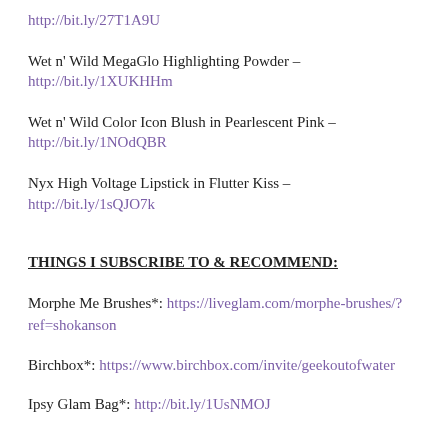http://bit.ly/27T1A9U
Wet n’ Wild MegaGlo Highlighting Powder – http://bit.ly/1XUKHHm
Wet n’ Wild Color Icon Blush in Pearlescent Pink – http://bit.ly/1NOdQBR
Nyx High Voltage Lipstick in Flutter Kiss – http://bit.ly/1sQJO7k
THINGS I SUBSCRIBE TO & RECOMMEND:
Morphe Me Brushes*: https://liveglam.com/morphe-brushes/?ref=shokanson
Birchbox*: https://www.birchbox.com/invite/geekoutofwater
Ipsy Glam Bag*: http://bit.ly/1UsNMOJ